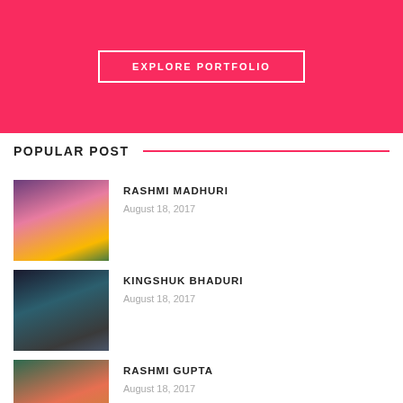[Figure (other): Pink/red hero banner with EXPLORE PORTFOLIO button]
POPULAR POST
[Figure (photo): Photo of Rashmi Madhuri - woman with crown]
RASHMI MADHURI
August 18, 2017
[Figure (photo): Photo of Kingshuk Bhaduri - man seated on throne-like chair]
KINGSHUK BHADURI
August 18, 2017
[Figure (photo): Photo of Rashmi Gupta - woman in red saree]
RASHMI GUPTA
August 18, 2017
[Figure (photo): Photo of Kavita Ojha - partial view at bottom]
KAVITA OJHA